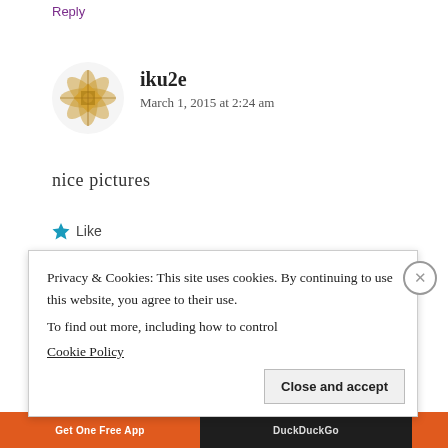Reply
[Figure (illustration): User avatar: golden/tan geometric mandala pattern circle for user iku2e]
iku2e
March 1, 2015 at 2:24 am
nice pictures
★ Like
Reply
[Figure (photo): User avatar photo with teal verified checkmark badge for Vasudha Aggarwal]
Vasudha Aggarwal
Privacy & Cookies: This site uses cookies. By continuing to use this website, you agree to their use.
To find out more, including how to control
Cookie Policy
Close and accept